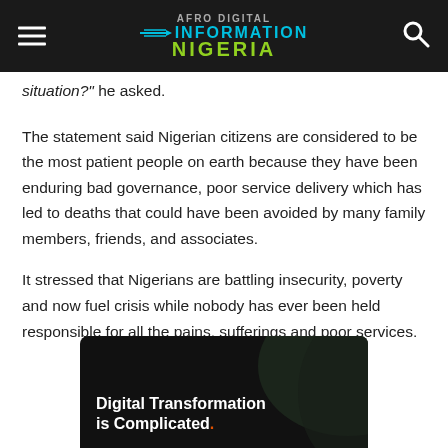Information Nigeria
situation?" he asked.
The statement said Nigerian citizens are considered to be the most patient people on earth because they have been enduring bad governance, poor service delivery which has led to deaths that could have been avoided by many family members, friends, and associates.
It stressed that Nigerians are battling insecurity, poverty and now fuel crisis while nobody has ever been held responsible for all the pains, sufferings and poor services.
[Figure (advertisement): Black banner ad with text 'Digital Transformation is Complicated.' with an orange period, on a dark curved background.]